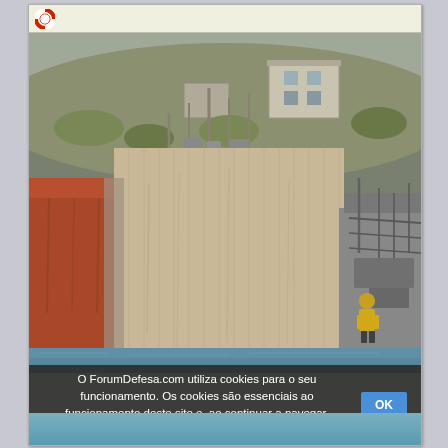[Figure (photo): Screenshot of a web page (ForumDefesa.com) showing a photo of a large ship or industrial vessel/dock structure with rust and weathering, moored near a hillside with buildings visible. A person in a yellow jacket is visible on the right side near boats. A cookie consent banner overlays the bottom of the image.]
O ForumDefesa.com utiliza cookies para o seu funcionamento. Os cookies são essenciais ao funcionamento deste site e, ao continuar a navegar, concorda com a sua utilização. OK